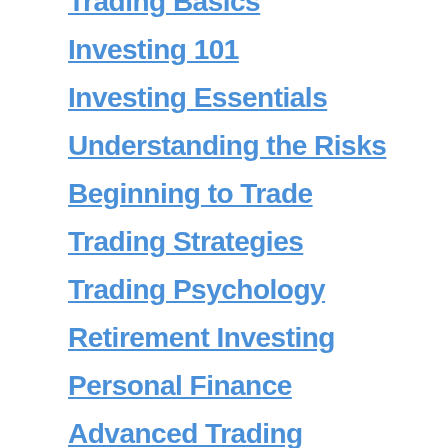Trading Basics
Investing 101
Investing Essentials
Understanding the Risks
Beginning to Trade
Trading Strategies
Trading Psychology
Retirement Investing
Personal Finance
Advanced Trading
Penny Stocks
FOREX Trading
Commodity Futures
Stock Tips